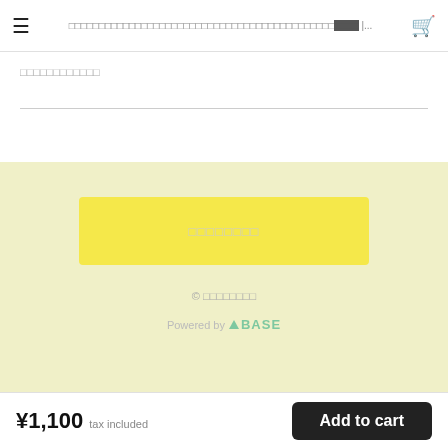≡  ████████████████████████████████████████████ | ...  🛒
████████████
████████
© ████████
Powered by △ BASE
¥1,100  tax included
Add to cart